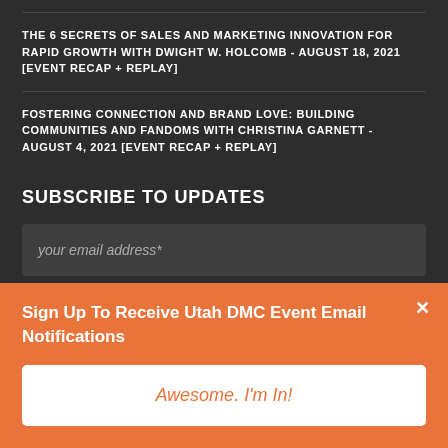THE 6 SECRETS OF SALES AND MARKETING INNOVATION FOR RAPID GROWTH WITH DWIGHT W. HOLCOMB - AUGUST 18, 2021 [EVENT RECAP + REPLAY]
FOSTERING CONNECTION AND BRAND LOVE: BUILDING COMMUNITIES AND FANDOMS WITH CHRISTINA GARNETT - AUGUST 4, 2021 [EVENT RECAP + REPLAY]
SUBSCRIBE TO UPDATES
your email address*
First name*
Sign Up To Receive Utah DMC Event Email Notifications
Awesome. I'm In!